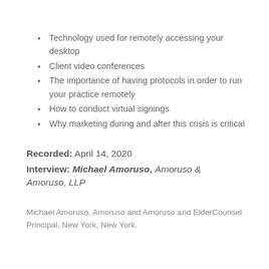Technology used for remotely accessing your desktop
Client video conferences
The importance of having protocols in order to run your practice remotely
How to conduct virtual signings
Why marketing during and after this crisis is critical
Recorded: April 14, 2020
Interview: Michael Amoruso, Amoruso & Amoruso, LLP
Michael Amoruso, Amoruso and Amoruso and ElderCounsel Principal, New York, New York.